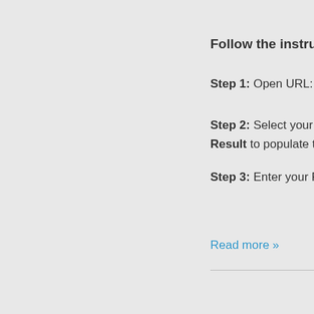Follow the instructi…
Step 1: Open URL: ht…
Step 2: Select your Un… Result to populate the…
Step 3: Enter your Ful…
Read more »